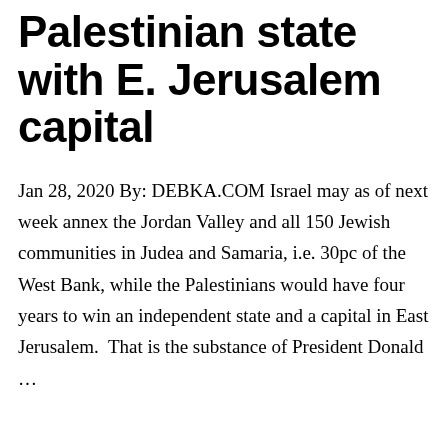Palestinian state with E. Jerusalem capital
Jan 28, 2020 By: DEBKA.COM Israel may as of next week annex the Jordan Valley and all 150 Jewish communities in Judea and Samaria, i.e. 30pc of the West Bank, while the Palestinians would have four years to win an independent state and a capital in East Jerusalem.  That is the substance of President Donald …